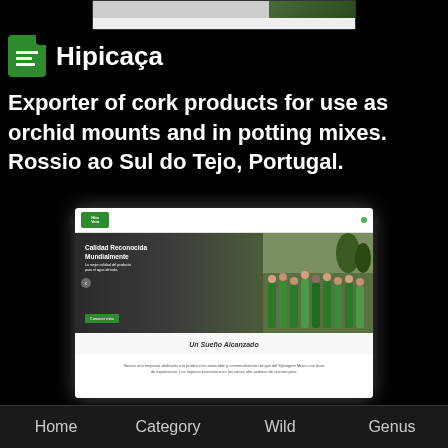[Figure (screenshot): Partial screenshot of a webpage shown at top of the page]
Hipicaça
Exporter of cork products for use as orchid mounts and in potting mixes. Rossio ao Sul do Tejo, Portugal.
[Figure (screenshot): Screenshot of the Hipicaça website showing a hero image with workers in green uniforms and text 'Un Sueño Alcanzado']
Home | Category | Wild | Genus